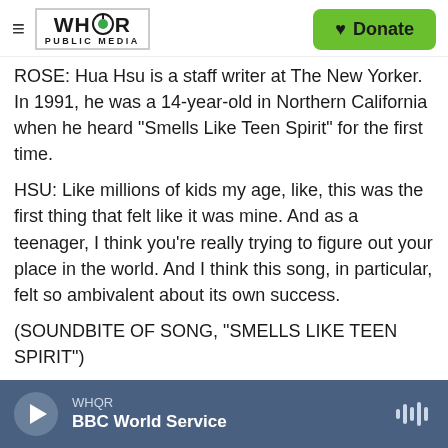WHQR PUBLIC MEDIA | Donate
ROSE: Hua Hsu is a staff writer at The New Yorker. In 1991, he was a 14-year-old in Northern California when he heard "Smells Like Teen Spirit" for the first time.
HSU: Like millions of kids my age, like, this was the first thing that felt like it was mine. And as a teenager, I think you're really trying to figure out your place in the world. And I think this song, in particular, felt so ambivalent about its own success.
(SOUNDBITE OF SONG, "SMELLS LIKE TEEN SPIRIT")
WHQR | BBC World Service